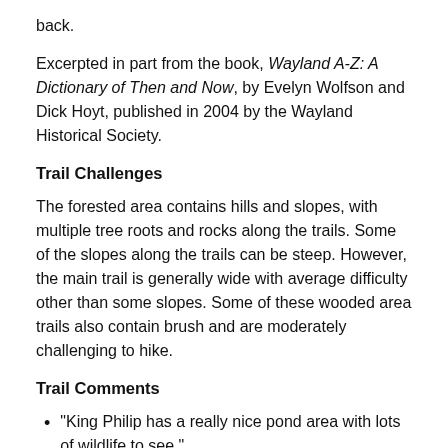back.
Excerpted in part from the book, Wayland A-Z: A Dictionary of Then and Now, by Evelyn Wolfson and Dick Hoyt, published in 2004 by the Wayland Historical Society.
Trail Challenges
The forested area contains hills and slopes, with multiple tree roots and rocks along the trails. Some of the slopes along the trails can be steep. However, the main trail is generally wide with average difficulty other than some slopes. Some of these wooded area trails also contain brush and are moderately challenging to hike.
Trail Comments
“King Philip has a really nice pond area with lots of wildlife to see.”